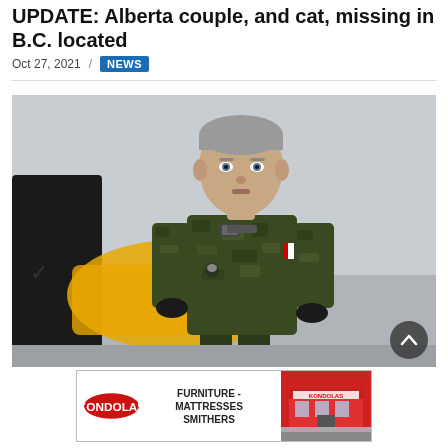UPDATE: Alberta couple, and cat, missing in B.C. located
Oct 27, 2021 / NEWS
[Figure (photo): A man in Canadian military camouflage uniform with a Canadian flag patch on his shoulder, standing outdoors near a yellow aircraft, with another person in dark clothing partially visible on the left.]
[Figure (other): Kondolas Furniture - Mattresses Smithers advertisement banner]